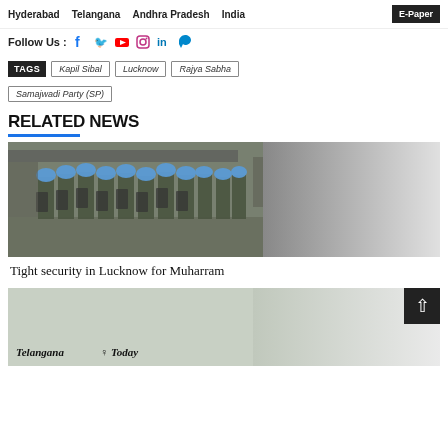Hyderabad  Telangana  Andhra Pradesh  India  E-Paper
Follow Us :
TAGS  Kapil Sibal  Lucknow  Rajya Sabha  Samajwadi Party (SP)
RELATED NEWS
[Figure (photo): Security personnel in blue helmets with shields forming a line on a street, with crowds and overpass visible in background]
Tight security in Lucknow for Muharram
[Figure (photo): Telangana Today newspaper logo/watermark visible at bottom of a foggy/misty image]